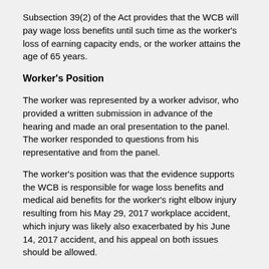Subsection 39(2) of the Act provides that the WCB will pay wage loss benefits until such time as the worker's loss of earning capacity ends, or the worker attains the age of 65 years.
Worker's Position
The worker was represented by a worker advisor, who provided a written submission in advance of the hearing and made an oral presentation to the panel. The worker responded to questions from his representative and from the panel.
The worker's position was that the evidence supports the WCB is responsible for wage loss benefits and medical aid benefits for the worker's right elbow injury resulting from his May 29, 2017 workplace accident, which injury was likely also exacerbated by his June 14, 2017 accident, and his appeal on both issues should be allowed.
The worker's representative asked that the panel attach weight to their written submission provided in advance of the